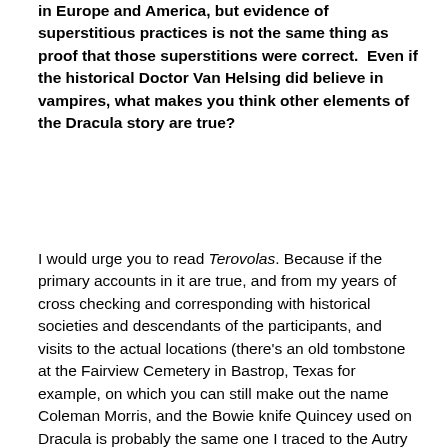in Europe and America, but evidence of superstitious practices is not the same thing as proof that those superstitions were correct.  Even if the historical Doctor Van Helsing did believe in vampires, what makes you think other elements of the Dracula story are true?
I would urge you to read Terovolas. Because if the primary accounts in it are true, and from my years of cross checking and corresponding with historical societies and descendants of the participants, and visits to the actual locations (there's an old tombstone at the Fairview Cemetery in Bastrop, Texas for example, on which you can still make out the name Coleman Morris, and the Bowie knife Quincey used on Dracula is probably the same one I traced to the Autry Museum here in Los Angeles) I can verify that they probably are, then chances